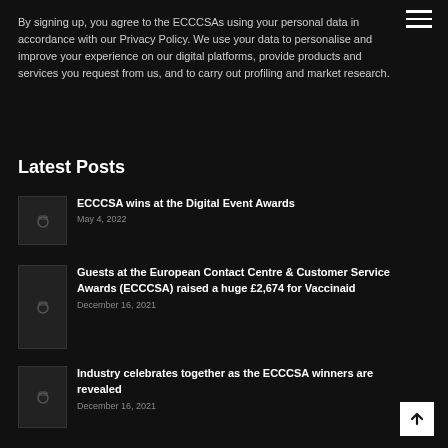By signing up, you agree to the ECCCSAs using your personal data in accordance with our Privacy Policy. We use your data to personalise and improve your experience on our digital platforms, provide products and services you request from us, and to carry out profiling and market research.
Latest Posts
ECCCSA wins at the Digital Event Awards
May 4, 2022
Guests at the European Contact Centre & Customer Service Awards (ECCCSA) raised a huge £2,674 for Vaccinaid
December 16, 2021
Industry celebrates together as the ECCCSA winners are revealed
December 16, 2021